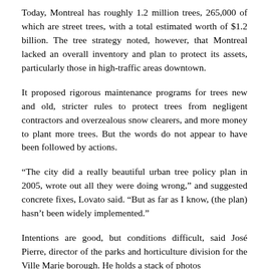Today, Montreal has roughly 1.2 million trees, 265,000 of which are street trees, with a total estimated worth of $1.2 billion. The tree strategy noted, however, that Montreal lacked an overall inventory and plan to protect its assets, particularly those in high-traffic areas downtown.
It proposed rigorous maintenance programs for trees new and old, stricter rules to protect trees from negligent contractors and overzealous snow clearers, and more money to plant more trees. But the words do not appear to have been followed by actions.
“The city did a really beautiful urban tree policy plan in 2005, wrote out all they were doing wrong,” and suggested concrete fixes, Lovato said. “But as far as I know, (the plan) hasn’t been widely implemented.”
Intentions are good, but conditions difficult, said José Pierre, director of the parks and horticulture division for the Ville Marie borough. He holds a stack of photos